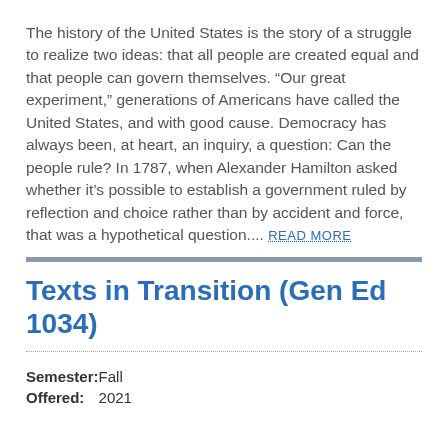The history of the United States is the story of a struggle to realize two ideas: that all people are created equal and that people can govern themselves. “Our great experiment,” generations of Americans have called the United States, and with good cause. Democracy has always been, at heart, an inquiry, a question: Can the people rule? In 1787, when Alexander Hamilton asked whether it’s possible to establish a government ruled by reflection and choice rather than by accident and force, that was a hypothetical question.... READ MORE
Texts in Transition (Gen Ed 1034)
Semester: Fall
Offered: 2021